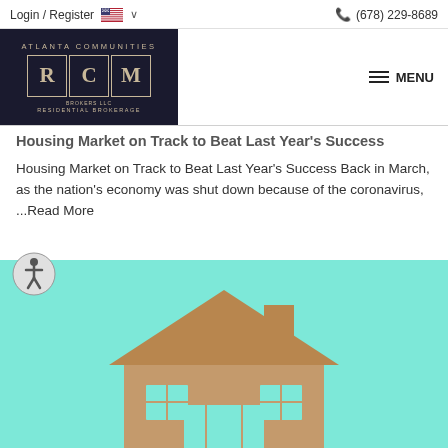Login / Register  🇺🇸 ∨        📞 (678) 229-8689
[Figure (logo): Atlanta Communities RCM Residential Brokerage logo on dark background]
≡ MENU
Housing Market on Track to Beat Last Year's Success
Housing Market on Track to Beat Last Year's Success Back in March, as the nation's economy was shut down because of the coronavirus, ...Read More
[Figure (photo): Cork board house cutout on teal/mint background]